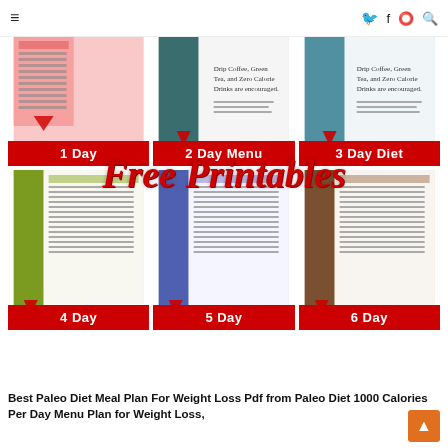≡  f  🐦  P  🔍
[Figure (screenshot): 3x2 grid of meal plan printable thumbnails labeled 1 Day, 2 Day Menu, 3 Day Diet, 4 Day, 5 Day, 6 Day with red label bars and Free Printables overlay text]
Best Paleo Diet Meal Plan For Weight Loss Pdf from Paleo Diet 1000 Calories Per Day Menu Plan for Weight Loss,